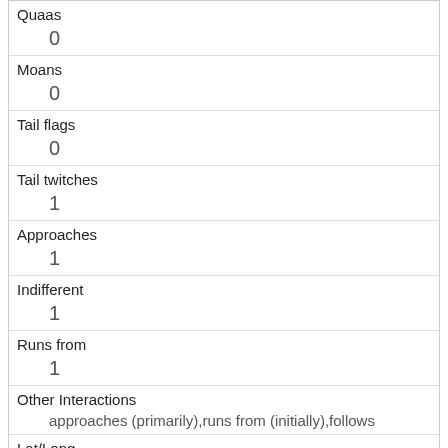| Quaas | 0 |
| Moans | 0 |
| Tail flags | 0 |
| Tail twitches | 1 |
| Approaches | 1 |
| Indifferent | 1 |
| Runs from | 1 |
| Other Interactions | approaches (primarily),runs from (initially),follows |
| Lat/Long | POINT (-73.9624184586031 40.7921524868211) |
| Link | 241 |